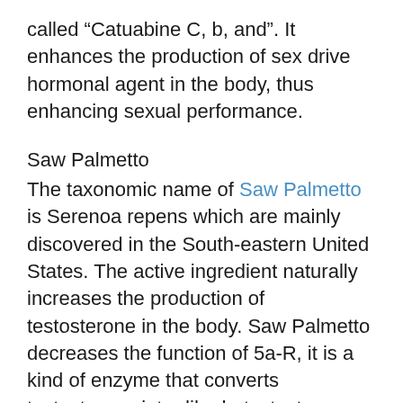called “Catuabine C, b, and”. It enhances the production of sex drive hormonal agent in the body, thus enhancing sexual performance.
Saw Palmetto
The taxonomic name of Saw Palmetto is Serenoa repens which are mainly discovered in the South-eastern United States. The active ingredient naturally increases the production of testosterone in the body. Saw Palmetto decreases the function of 5a-R, it is a kind of enzyme that converts testosterone into dihydrotestosterone (DHT). Research conducted on 40 males revealed that regular use of Saw Palmetto for 6 months lowered the level of DHT by 32%. Increasing the level of testosterone...